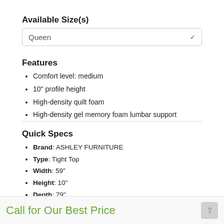Available Size(s)
Queen (dropdown)
Features
Comfort level: medium
10" profile height
High-density quilt foam
High-density gel memory foam lumbar support
Quick Specs
Brand: ASHLEY FURNITURE
Type: Tight Top
Width: 59"
Height: 10"
Depth: 79"
See More
Call for Our Best Price